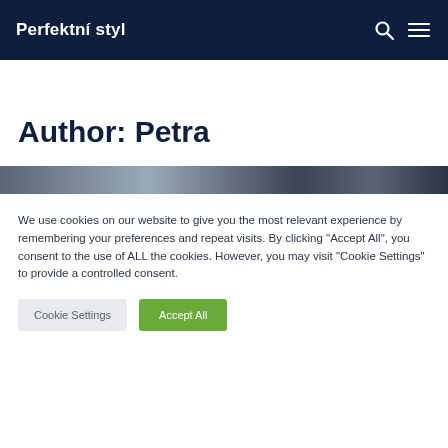Perfektní styl
Author: Petra
[Figure (photo): Partial image strip visible below the Author heading]
We use cookies on our website to give you the most relevant experience by remembering your preferences and repeat visits. By clicking "Accept All", you consent to the use of ALL the cookies. However, you may visit "Cookie Settings" to provide a controlled consent.
Cookie Settings   Accept All